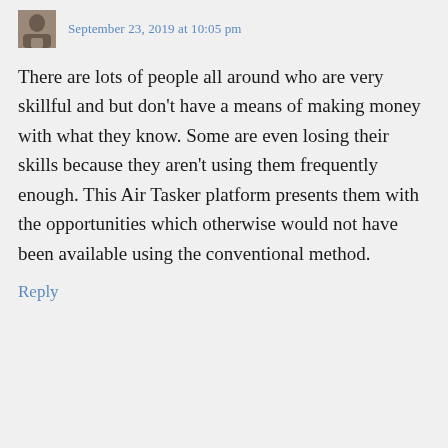[Figure (photo): Small avatar photo of a person, appears to be sitting at a table with a cup]
September 23, 2019 at 10:05 pm
There are lots of people all around who are very skillful and but don't have a means of making money with what they know. Some are even losing their skills because they aren't using them frequently enough. This Air Tasker platform presents them with the opportunities which otherwise would not have been available using the conventional method.
Reply